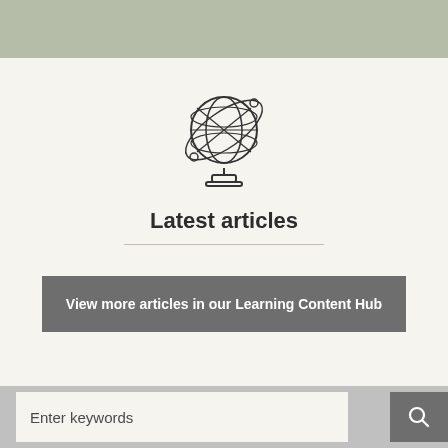[Figure (illustration): Line-art globe icon with stand and orbit ring]
Latest articles
View more articles in our Learning Content Hub
Enter keywords